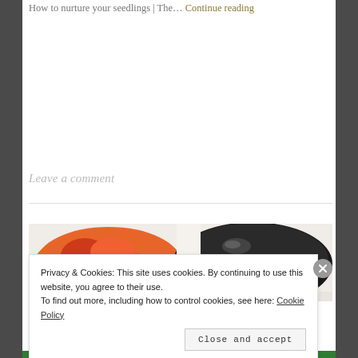How to nurture your seedlings | The… Continue reading
Leave a comment
[Figure (photo): Food photo showing bowls with tomatoes and a dark pot or bowl on a white surface]
Privacy & Cookies: This site uses cookies. By continuing to use this website, you agree to their use. To find out more, including how to control cookies, see here: Cookie Policy
Close and accept